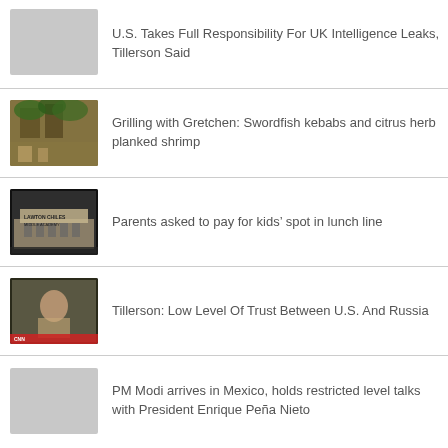U.S. Takes Full Responsibility For UK Intelligence Leaks, Tillerson Said
Grilling with Gretchen: Swordfish kebabs and citrus herb planked shrimp
Parents asked to pay for kids’ spot in lunch line
Tillerson: Low Level Of Trust Between U.S. And Russia
PM Modi arrives in Mexico, holds restricted level talks with President Enrique Peña Nieto